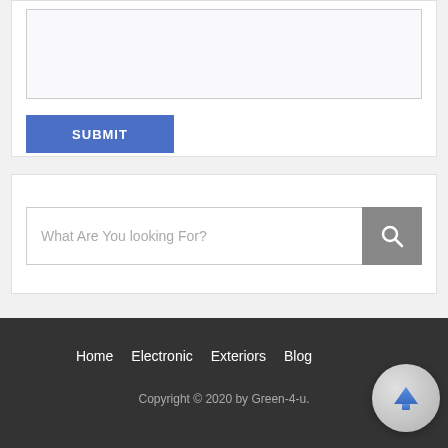[Figure (screenshot): Text area input box (empty, partially visible at top)]
SUBMIT
[Figure (screenshot): Search input box with placeholder text 'What Are You looking For?' and a gray search button with magnifying glass icon]
Home   Electronic   Exteriors   Blog
Copyright © 2020 by Green-4-u.